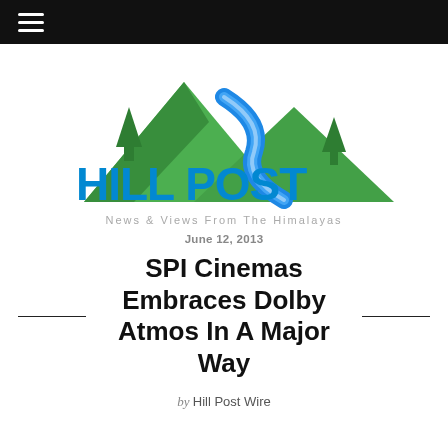≡ (hamburger menu)
[Figure (logo): Hill Post logo: green mountain silhouette with blue river and pine trees, bold blue text 'HILL POST', tagline 'News & Views From The Himalayas']
June 12, 2013
SPI Cinemas Embraces Dolby Atmos In A Major Way
by Hill Post Wire